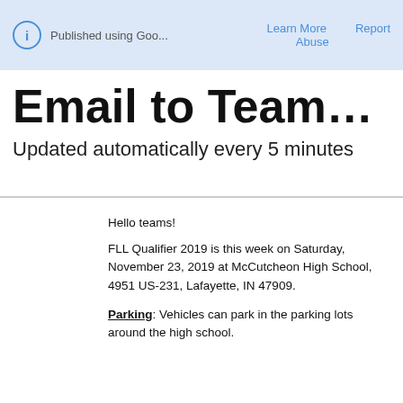Published using Goo...   Learn More   Report Abuse
Email to Teams F...
Updated automatically every 5 minutes
Hello teams!
FLL Qualifier 2019 is this week on Saturday, November 23, 2019 at McCutcheon High School, 4951 US-231, Lafayette, IN 47909.
Parking: Vehicles can park in the parking lots around the high school.